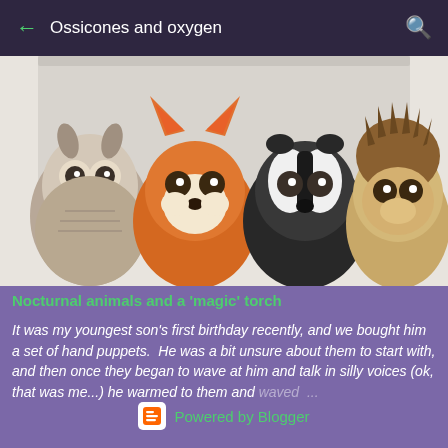Ossicones and oxygen
[Figure (photo): Four stuffed animal hand puppets sitting against a white door/wall: an owl (grey-brown), a fox (orange), a badger (black and white), and a hedgehog/lion (tan/brown)]
Nocturnal animals and a 'magic' torch
It was my youngest son's first birthday recently, and we bought him a set of hand puppets.  He was a bit unsure about them to start with, and then once they began to wave at him and talk in silly voices (ok, that was me...) he warmed to them and waved ...
Powered by Blogger